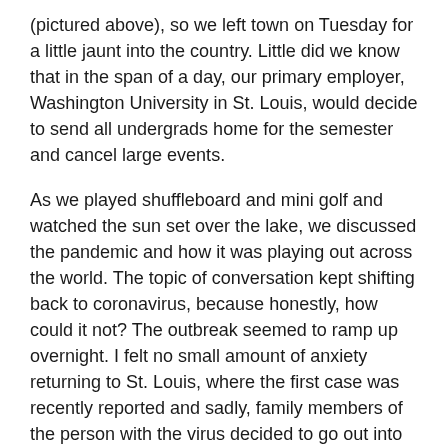(pictured above), so we left town on Tuesday for a little jaunt into the country. Little did we know that in the span of a day, our primary employer, Washington University in St. Louis, would decide to send all undergrads home for the semester and cancel large events.
As we played shuffleboard and mini golf and watched the sun set over the lake, we discussed the pandemic and how it was playing out across the world. The topic of conversation kept shifting back to coronavirus, because honestly, how could it not? The outbreak seemed to ramp up overnight. I felt no small amount of anxiety returning to St. Louis, where the first case was recently reported and sadly, family members of the person with the virus decided to go out into the world and run errands and get their nails done despite a quarantine order.